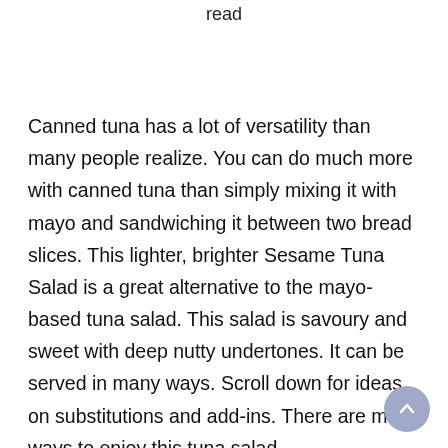read
Canned tuna has a lot of versatility than many people realize. You can do much more with canned tuna than simply mixing it with mayo and sandwiching it between two bread slices. This lighter, brighter Sesame Tuna Salad is a great alternative to the mayo-based tuna salad. This salad is savoury and sweet with deep nutty undertones. It can be served in many ways. Scroll down for ideas on substitutions and add-ins. There are many ways to enjoy this tuna salad.